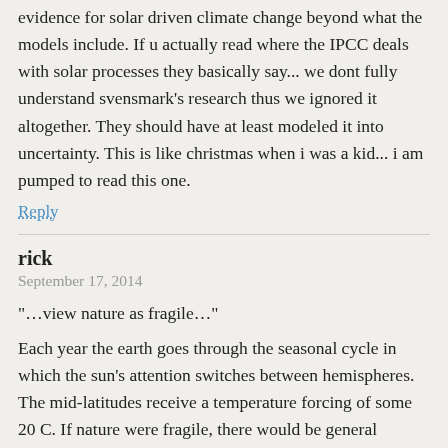evidence for solar driven climate change beyond what the models include. If u actually read where the IPCC deals with solar processes they basically say... we dont fully understand svensmark's research thus we ignored it altogether. They should have at least modeled it into uncertainty. This is like christmas when i was a kid... i am pumped to read this one.
Reply
rick
September 17, 2014
“...view nature as fragile...”
Each year the earth goes through the seasonal cycle in which the sun’s attention switches between hemispheres. The mid-latitudes receive a temperature forcing of some 20 C. If nature were fragile, there would be general “systems run-aways”.
Reply
Robin